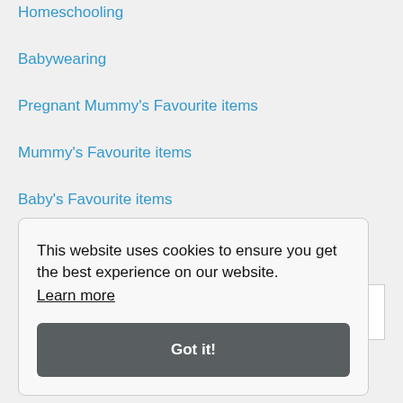Homeschooling
Babywearing
Pregnant Mummy's Favourite items
Mummy's Favourite items
Baby's Favourite items
This website uses cookies to ensure you get the best experience on our website. Learn more
Got it!